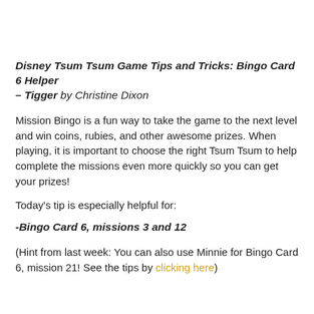Disney Tsum Tsum Game Tips and Tricks: Bingo Card 6 Helper – Tigger by Christine Dixon
Mission Bingo is a fun way to take the game to the next level and win coins, rubies, and other awesome prizes. When playing, it is important to choose the right Tsum Tsum to help complete the missions even more quickly so you can get your prizes!
Today's tip is especially helpful for:
-Bingo Card 6, missions 3 and 12
(Hint from last week: You can also use Minnie for Bingo Card 6, mission 21! See the tips by clicking here)